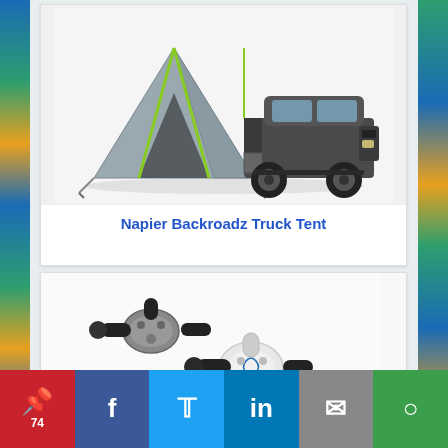[Figure (photo): Pickup truck with gray camping tent attached to the truck bed, rear view, parked on white background]
Napier Backroadz Truck Tent
[Figure (photo): Scuba diving regulators / equipment pieces shown on white background - metallic and black components]
Pinterest 74 | Facebook | Twitter | LinkedIn | Email | More